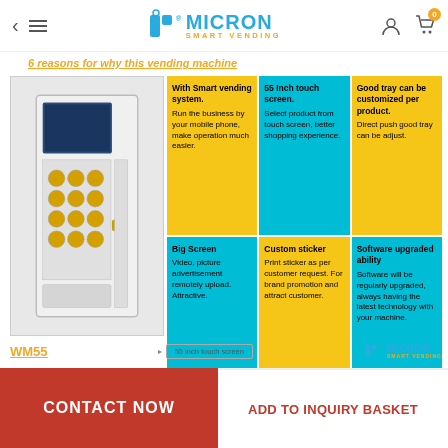Micron Smart Vending — navigation bar with back arrow, menu, logo, user icon, cart (0)
6 reasons for why this vending machine
[Figure (photo): White smart vending machine with large touch screen and product slots filled with circular products]
With Smart vending system. Run the business by your mobile phone, make operation much easier.
55 Inch touch screen. Select product from touch screen, better shopping experience.
Good tray can be customized per product. Direct push good tray can be adjust.
Big Screen Video, picture advertisement remotely upload. Attractive.
Custom sticker Print sticker as per customer request. For brand promotion and attract customer.
Software upgraded ability Software will be regularly upgraded, always having the latest technology with your machine.
WM55
55 inch touch screen
CONTACT NOW | ADD TO INQUIRY BASKET